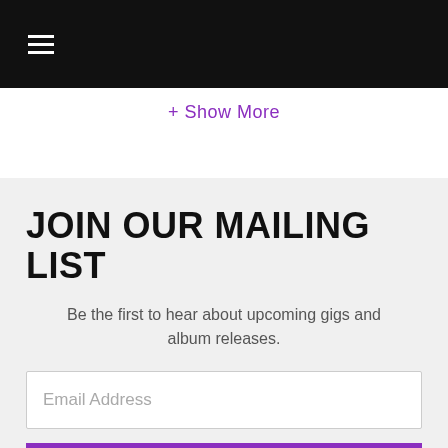☰
+ Show More
JOIN OUR MAILING LIST
Be the first to hear about upcoming gigs and album releases.
Email Address
SIGN UP